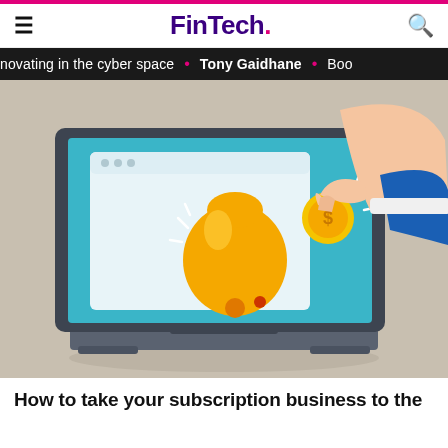FinTech.
novating in the cyber space • Tony Gaidhane • Boo
[Figure (illustration): Illustration of a laptop computer displaying a browser window. A hand wearing a blue suit sleeve reaches in from the right side, dropping a gold coin into a gold piggy bank shaped like a bell sitting on the laptop screen. The background of the laptop screen is teal/blue. The overall background is beige/tan.]
How to take your subscription business to the